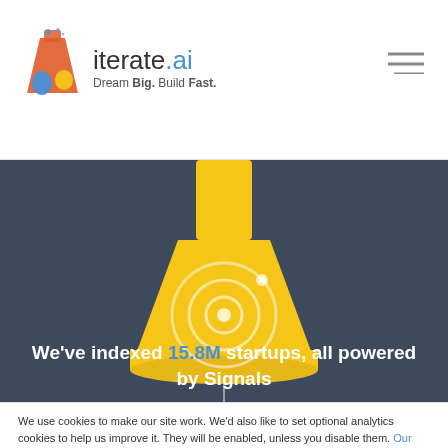[Figure (logo): iterate.ai logo with flask icon. Tagline: Dream Big. Build Fast.]
[Figure (illustration): Yellow Erlenmeyer flask with circular signal/target icon on dark blue-grey background, with a thin vertical line and small circle below the flask.]
We've indexed 15.8M startups, all powered by Signals
We use cookies to make our site work. We'd also like to set optional analytics cookies to help us improve it. They will be enabled, unless you disable them. Our privacy policy
Accept
Decline